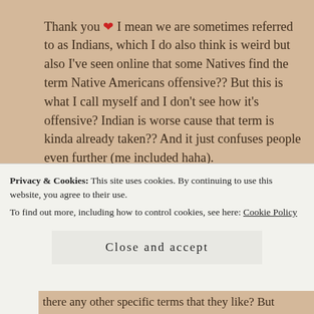Thank you ❤ I mean we are sometimes referred to as Indians, which I do also think is weird but also I've seen online that some Natives find the term Native Americans offensive?? But this is what I call myself and I don't see how it's offensive? Indian is worse cause that term is kinda already taken?? And it just confuses people even further (me included haha).
★ Liked by 1 person   REPLY
Julianna @ Paper Blots
Privacy & Cookies: This site uses cookies. By continuing to use this website, you agree to their use.
To find out more, including how to control cookies, see here: Cookie Policy
Close and accept
there any other specific terms that they like? But